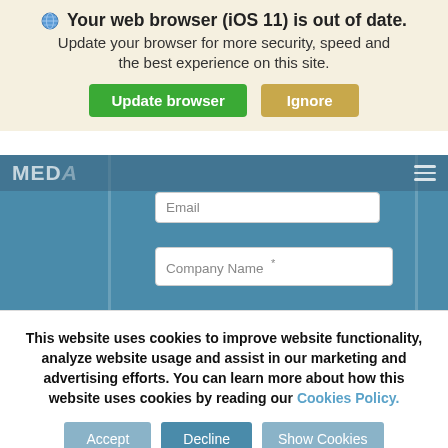[Figure (screenshot): Browser update notification banner with globe icon, title 'Your web browser (iOS 11) is out of date.', subtitle text, and two buttons: green 'Update browser' and tan 'Ignore'.]
[Figure (screenshot): Website background showing partial MEDA logo/nav, an Email input field, a Company Name input field, and a privacy notice text area on a blue background.]
Please see our customer data privacy notice relating to our collection and use of your data. You always have the right to unsubscribe.
This website uses cookies to improve website functionality, analyze website usage and assist in our marketing and advertising efforts. You can learn more about how this website uses cookies by reading our Cookies Policy.